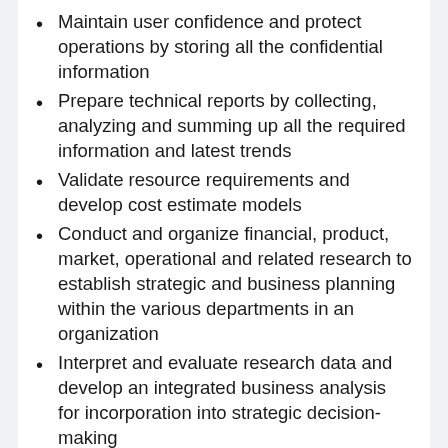Maintain user confidence and protect operations by storing all the confidential information
Prepare technical reports by collecting, analyzing and summing up all the required information and latest trends
Validate resource requirements and develop cost estimate models
Conduct and organize financial, product, market, operational and related research to establish strategic and business planning within the various departments in an organization
Interpret and evaluate research data and develop an integrated business analysis for incorporation into strategic decision-making
Plan and regulate the development of primary and secondary market research studies to support strategic planning and specific marketing initiatives